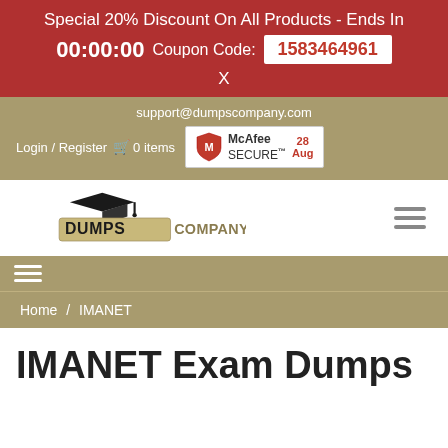Special 20% Discount On All Products - Ends In 00:00:00 Coupon Code: 1583464961 X
support@dumpscompany.com Login / Register 0 items McAfee SECURE 28 Aug
[Figure (logo): DumpsCompany logo with graduation cap]
Home / IMANET
IMANET Exam Dumps